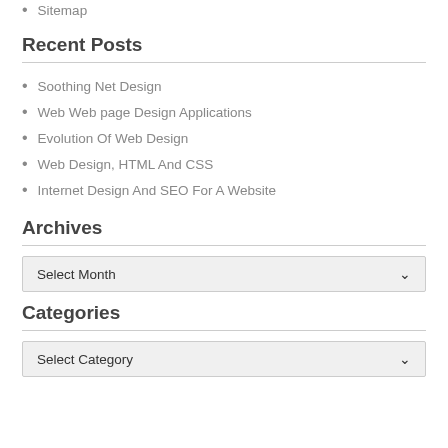Sitemap
Recent Posts
Soothing Net Design
Web Web page Design Applications
Evolution Of Web Design
Web Design, HTML And CSS
Internet Design And SEO For A Website
Archives
Select Month
Categories
Select Category